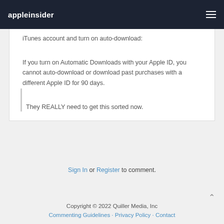appleinsider
iTunes account and turn on auto-download:
If you turn on Automatic Downloads with your Apple ID, you cannot auto-download or download past purchases with a different Apple ID for 90 days.
They REALLY need to get this sorted now.
Sign In or Register to comment.
Copyright © 2022 Quiller Media, Inc
Commenting Guidelines · Privacy Policy · Contact